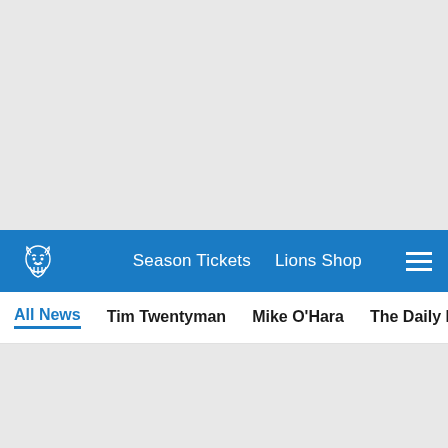[Figure (screenshot): Top gray banner area of Detroit Lions website]
Season Tickets  Lions Shop
All News  Tim Twentyman  Mike O'Hara  The Daily Drive  Press
Title Coming N...
[Figure (infographic): Social share icons: Facebook, Twitter, Email, Link]